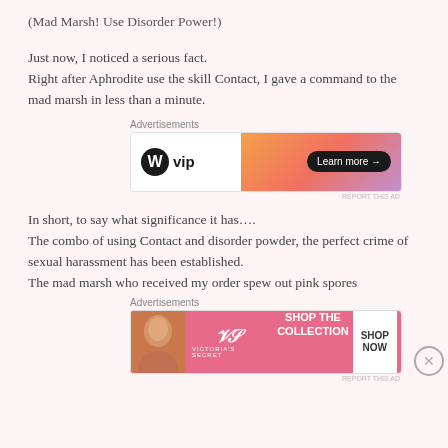(Mad Marsh! Use Disorder Power!)
Just now, I noticed a serious fact.
Right after Aphrodite use the skill Contact, I gave a command to the mad marsh in less than a minute.
[Figure (other): WordPress VIP advertisement banner with orange-to-pink gradient and Learn more button]
In short, to say what significance it has….
The combo of using Contact and disorder powder, the perfect crime of sexual harassment has been established.
The mad marsh who received my order spew out pink spores
[Figure (other): Victoria's Secret advertisement banner with pink background, model photo, SHOP THE COLLECTION text and SHOP NOW button]